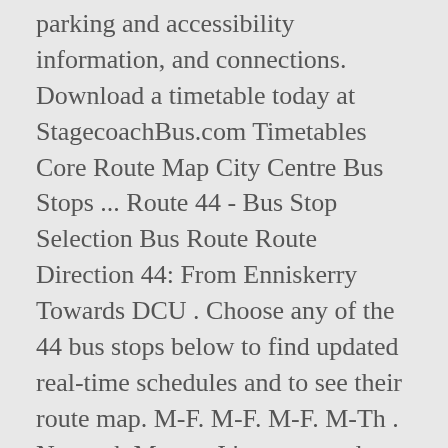parking and accessibility information, and connections. Download a timetable today at StagecoachBus.com Timetables Core Route Map City Centre Bus Stops ... Route 44 - Bus Stop Selection Bus Route Route Direction 44: From Enniskerry Towards DCU . Choose any of the 44 bus stops below to find updated real-time schedules and to see their route map. M-F. M-F. M-F. M-Th . Network Maps – It's easy to select the bus you need or plan your journey with our interactive route maps. PDF Timetable 44, 45, 45B PDF Route Map 44, 45, 45B To St Mellons Wed, 23rd Dec. To St Mellons ... We do our best to run our buses on time, but please allow plenty of time to catch the bus and any